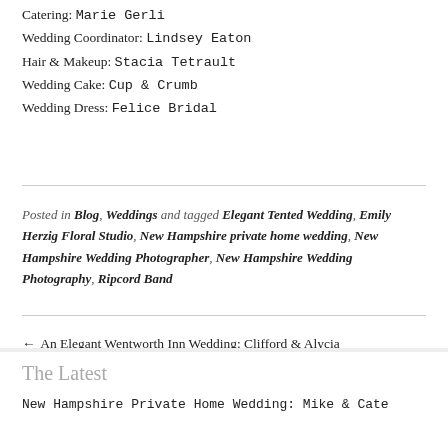Catering:  Marie Gerli
Wedding Coordinator:  Lindsey Eaton
Hair & Makeup:  Stacia Tetrault
Wedding Cake:  Cup & Crumb
Wedding Dress:  Felice Bridal
Posted in Blog, Weddings and tagged Elegant Tented Wedding, Emily Herzig Floral Studio, New Hampshire private home wedding, New Hampshire Wedding Photographer, New Hampshire Wedding Photography, Ripcord Band
← An Elegant Wentworth Inn Wedding: Clifford & Alycia
The Latest
New Hampshire Private Home Wedding: Mike & Cate